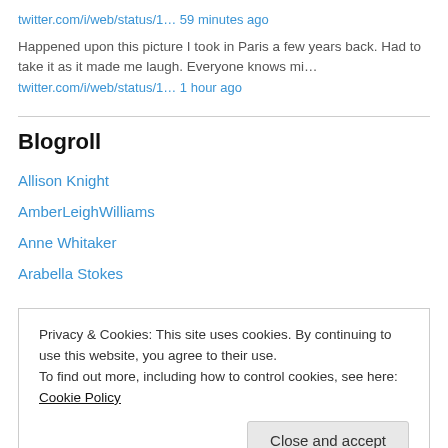twitter.com/i/web/status/1… 59 minutes ago
Happened upon this picture I took in Paris a few years back. Had to take it as it made me laugh. Everyone knows mi…
twitter.com/i/web/status/1… 1 hour ago
Blogroll
Allison Knight
AmberLeighWilliams
Anne Whitaker
Arabella Stokes
Privacy & Cookies: This site uses cookies. By continuing to use this website, you agree to their use. To find out more, including how to control cookies, see here: Cookie Policy
Close and accept
Cynthia Eden